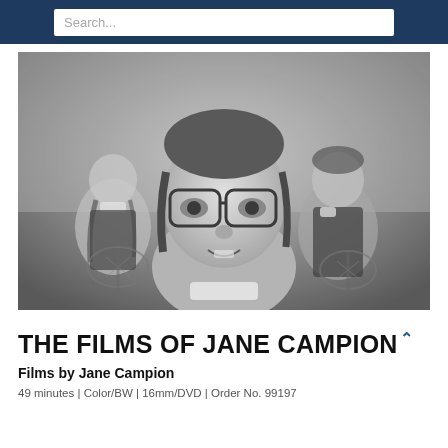Search...
[Figure (photo): Black and white photograph of three young people in school uniforms holding tennis rackets. A girl with large glasses is prominently in the foreground, with two other students blurred in the background.]
THE FILMS OF JANE CAMPION
Films by Jane Campion
49 minutes | Color/BW | 16mm/DVD | Order No. 99197